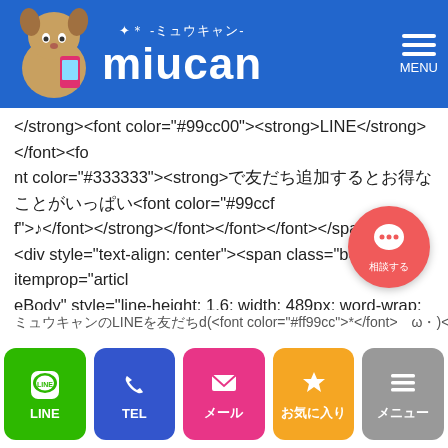miucan -ミュウキャン-
</strong><font color="#99cc00"><strong>LINE</strong></font><font color="#333333"><strong>で友だち追加するとお得なことがいっぱい<font color="#99ccff">♪</font></strong></font></font></font></span>
<div style="text-align: center"><span class="body" itemprop="articleBody" style="line-height: 1.6; width: 489px; word-wrap: break-word"><font style="font-size: medium"><font color="#008080"><font color="#333333"><strong>　<a href="(1).jpg"><img alt="stats.label.addfriend' (MISSING TRANSLATION)" border="0" height="90" src="" /></a><br />
<span style="font-size: x-small"><span style="text-align: center; line-height: 16px">↑</span></span><span style="text-align: center; line-height: 16px; font-size: x-small">↑↑↑↑<br />
押してね</span><br />
ミュウキャンのLINEを友だち追加する方法d(<font color="#ff99cc">*</font>ゝω・)<font color="#ff99c
LINE  TEL  メール  お気に入り  メニュー